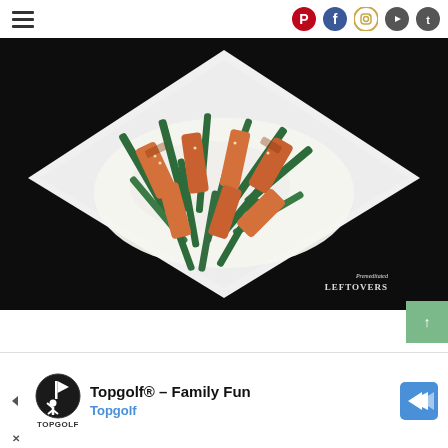Navigation menu and social icons: Pinterest, Facebook, Instagram, YouTube, Twitter
[Figure (photo): Overhead view of a white diamond-shaped plate with salmon and asparagus stir fry over white rice on a black background. Watermark reads 'Premeditated LEFTOVERS' in white italic text.]
[Figure (other): Green scroll-to-top button with upward arrow on right side]
[Figure (other): Advertisement banner for Topgolf: 'Topgolf® – Family Fun' with Topgolf logo and navigation arrow icon]